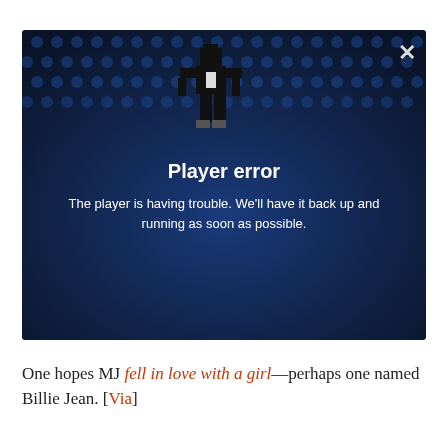[Figure (screenshot): Video player error screen showing a LEGO figure made of black bricks against a blue LEGO brick background. The player displays 'Player error' in bold white text and the message 'The player is having trouble. We'll have it back up and running as soon as possible.' A white X close button is in the top right corner.]
One hopes MJ fell in love with a girl—perhaps one named Billie Jean. [Via]